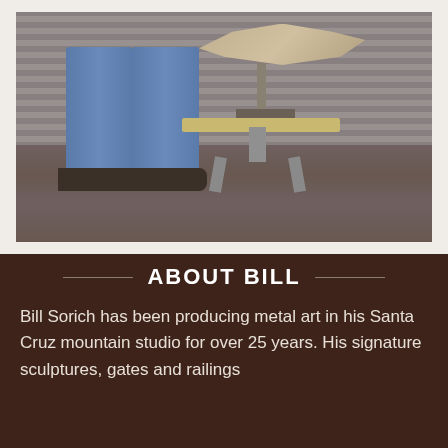[Figure (photo): Photo of a person (lower body visible, wearing jeans and muddy boots) standing next to a metal bird sculpture mounted on a pole on a work stool, in front of a corrugated metal wall background.]
ABOUT BILL
Bill Sorich has been producing metal art in his Santa Cruz mountain studio for over 25 years. His signature sculptures, gates and railings